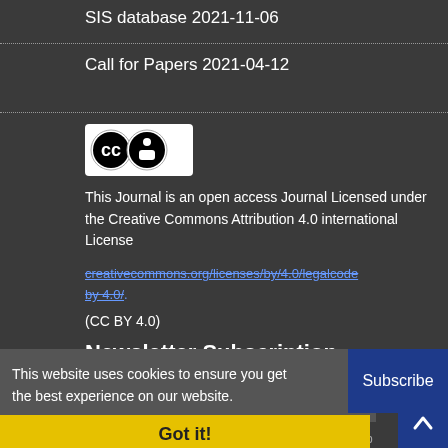SIS database 2021-11-06
Call for Papers 2021-04-12
[Figure (logo): Creative Commons CC BY logo in white and black on white background]
This Journal is an open access Journal Licensed under the Creative Commons Attribution 4.0 international License
(CC BY 4.0)
Newsletter Subscription
Subscribe to the journal newsletter and receive the latest news and updates
This website uses cookies to ensure you get the best experience on our website.
Subscribe
Got it!
© Journal Management System. Powered by Sinaweb